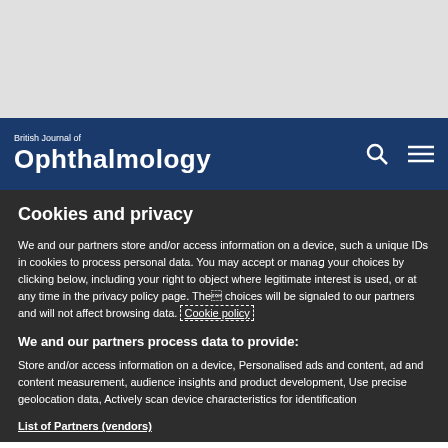British Journal of Ophthalmology
Cookies and privacy
We and our partners store and/or access information on a device, such as unique IDs in cookies to process personal data. You may accept or manage your choices by clicking below, including your right to object where legitimate interest is used, or at any time in the privacy policy page. These choices will be signaled to our partners and will not affect browsing data. Cookie policy
We and our partners process data to provide:
Store and/or access information on a device, Personalised ads and content, ad and content measurement, audience insights and product development, Use precise geolocation data, Actively scan device characteristics for identification
List of Partners (vendors)